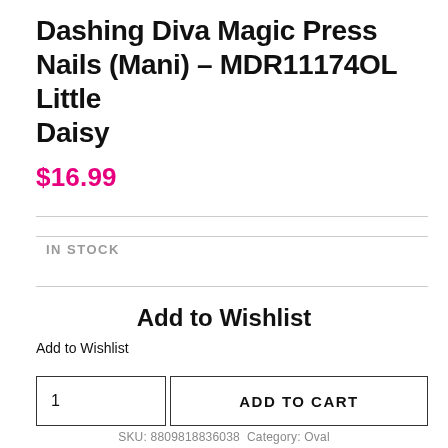Dashing Diva Magic Press Nails (Mani) – MDR11174OL Little Daisy
$16.99
IN STOCK
Add to Wishlist
Add to Wishlist
1
ADD TO CART
SKU: 8809818836038 Category: Oval